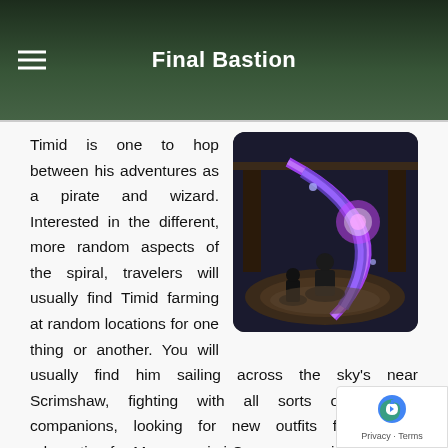Final Bastion
[Figure (screenshot): Screenshot from a video game showing a character performing a crescent moon-shaped magical attack with blue and purple energy arcs in a combat scene.]
Timid is one to hop between his adventures as a pirate and wizard. Interested in the different, more random aspects of the spiral, travelers will usually find Timid farming at random locations for one thing or another. You will usually find him sailing across the sky's near Scrimshaw, fighting with all sorts of different companions, looking for new outfits fo wizards, advocating for Moon magic i Commons, or just spinning around AFK on his